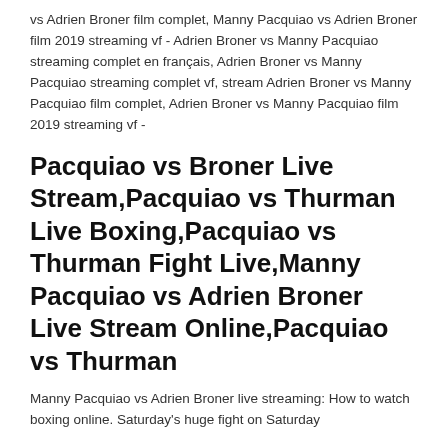vs Adrien Broner film complet, Manny Pacquiao vs Adrien Broner film 2019 streaming vf - Adrien Broner vs Manny Pacquiao streaming complet en français, Adrien Broner vs Manny Pacquiao streaming complet vf, stream Adrien Broner vs Manny Pacquiao film complet, Adrien Broner vs Manny Pacquiao film 2019 streaming vf -
Pacquiao vs Broner Live Stream,Pacquiao vs Thurman Live Boxing,Pacquiao vs Thurman Fight Live,Manny Pacquiao vs Adrien Broner Live Stream Online,Pacquiao vs Thurman
Manny Pacquiao vs Adrien Broner live streaming: How to watch boxing online. Saturday's huge fight on Saturday